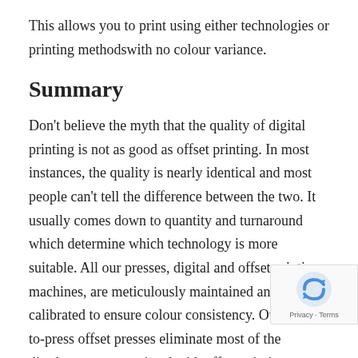This allows you to print using either technologies or printing methodswith no colour variance.
Summary
Don't believe the myth that the quality of digital printing is not as good as offset printing. In most instances, the quality is nearly identical and most people can't tell the difference between the two. It usually comes down to quantity and turnaround which determine which technology is more suitable. All our presses, digital and offset printing machines, are meticulously maintained and calibrated to ensure colour consistency. Our direct-to-press offset presses eliminate most of the disadvantages associated with offset printing to bring you the benefits of both technologies.
It is good to have choices and no matter which technology you prefer, you can rest assure that we will